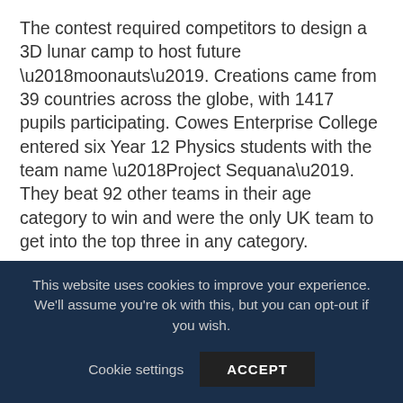The contest required competitors to design a 3D lunar camp to host future ‘moonauts’. Creations came from 39 countries across the globe, with 1417 pupils participating. Cowes Enterprise College entered six Year 12 Physics students with the team name ‘Project Sequana’. They beat 92 other teams in their age category to win and were the only UK team to get into the top three in any category.
Alongside well-known astronauts Samantha Cristoforetti and Luca Parmitano, Project Sequana joined other winning teams from all over the world and had the chance to ask the astronauts questions about their time in space, gaining a first hand-insight. The
This website uses cookies to improve your experience. We’ll assume you’re ok with this, but you can opt-out if you wish. Cookie settings ACCEPT